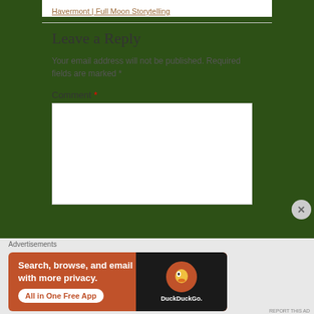Havermont | Full Moon Storytelling
Leave a Reply
Your email address will not be published. Required fields are marked *
Comment *
[Figure (screenshot): DuckDuckGo advertisement banner: orange background with text 'Search, browse, and email with more privacy. All in One Free App' and DuckDuckGo logo on a dark phone mockup]
Advertisements